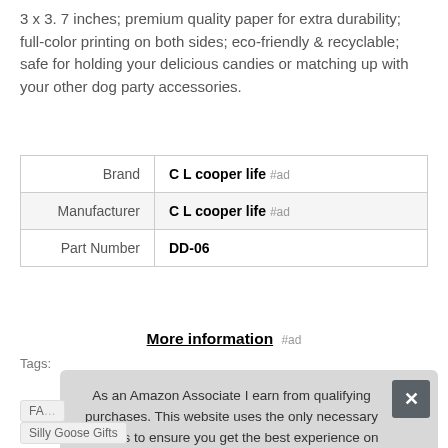3 x 3. 7 inches; premium quality paper for extra durability; full-color printing on both sides; eco-friendly & recyclable; safe for holding your delicious candies or matching up with your other dog party accessories.
| Brand | C L cooper life #ad |
| Manufacturer | C L cooper life #ad |
| Part Number | DD-06 |
More information #ad
Tags:
As an Amazon Associate I earn from qualifying purchases. This website uses the only necessary cookies to ensure you get the best experience on our website. More information